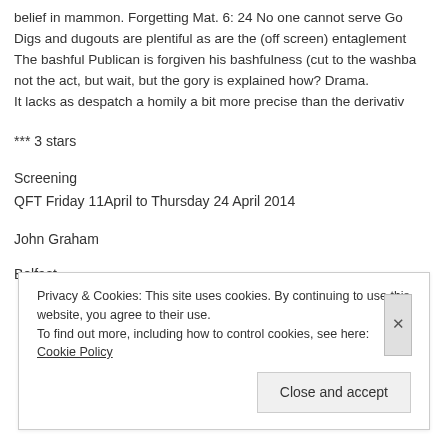belief in mammon. Forgetting Mat. 6: 24 No one cannot serve Go Digs and dugouts are plentiful as are the (off screen) entaglement The bashful Publican is forgiven his bashfulness (cut to the washba not the act, but wait, but the gory is explained how? Drama. It lacks as despatch a homily a bit more precise than the derivativ
*** 3 stars
Screening
QFT Friday 11April to Thursday 24 April 2014
John Graham
Belfast
Privacy & Cookies: This site uses cookies. By continuing to use this website, you agree to their use.
To find out more, including how to control cookies, see here: Cookie Policy
Close and accept